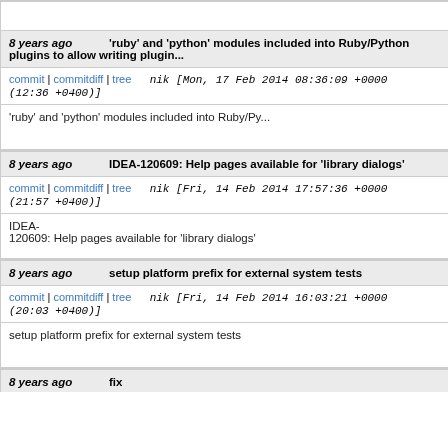8 years ago  'ruby' and 'python' modules included into Ruby/Python plugins to allow writing plugin...
commit | commitdiff | tree   nik [Mon, 17 Feb 2014 08:36:09 +0000 (12:36 +0400)]
'ruby' and 'python' modules included into Ruby/Py...
8 years ago  IDEA-120609: Help pages available for 'library dialogs'
commit | commitdiff | tree   nik [Fri, 14 Feb 2014 17:57:36 +0000 (21:57 +0400)]
IDEA-120609: Help pages available for 'library dialogs'
8 years ago  setup platform prefix for external system tests
commit | commitdiff | tree   nik [Fri, 14 Feb 2014 16:03:21 +0000 (20:03 +0400)]
setup platform prefix for external system tests
8 years ago  fix